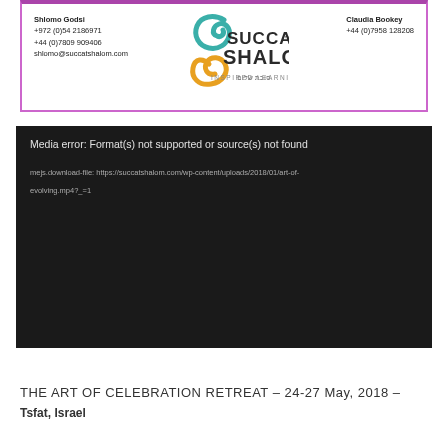[Figure (logo): Succat Shalom logo with contact info for Shlomo Godsi and Claudia Bookey]
[Figure (screenshot): Media error: Format(s) not supported or source(s) not found. mejs.download-file: https://succatshalom.com/wp-content/uploads/2018/01/art-of-evolving.mp4?_=1]
THE ART OF CELEBRATION RETREAT – 24-27 May, 2018 – Tsfat, Israel